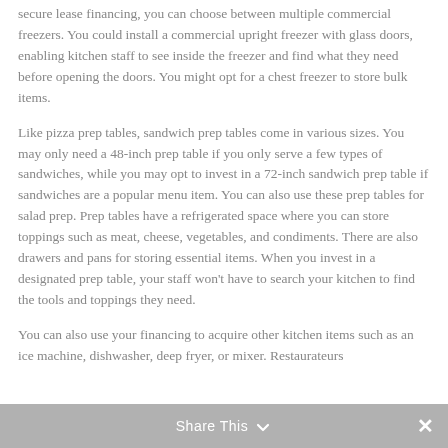secure lease financing, you can choose between multiple commercial freezers. You could install a commercial upright freezer with glass doors, enabling kitchen staff to see inside the freezer and find what they need before opening the doors. You might opt for a chest freezer to store bulk items.
Like pizza prep tables, sandwich prep tables come in various sizes. You may only need a 48-inch prep table if you only serve a few types of sandwiches, while you may opt to invest in a 72-inch sandwich prep table if sandwiches are a popular menu item. You can also use these prep tables for salad prep. Prep tables have a refrigerated space where you can store toppings such as meat, cheese, vegetables, and condiments. There are also drawers and pans for storing essential items. When you invest in a designated prep table, your staff won't have to search your kitchen to find the tools and toppings they need.
You can also use your financing to acquire other kitchen items such as an ice machine, dishwasher, deep fryer, or mixer. Restaurateurs
Share This